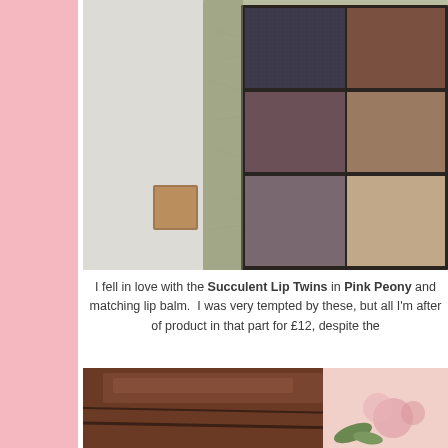[Figure (photo): Close-up photo of an open eyeshadow palette with earthy brown, dark grey, mauve, and beige colour pans, in a decorative green patterned box with a small copper-coloured pan in the foreground.]
I fell in love with the Succulent Lip Twins in Pink Peony and matching lip balm.  I was very tempted by these, but all I'm after of product in that part for £12, despite the
[Figure (photo): Close-up photo of what appears to be a brown leather or chocolate-coloured lip product with pink floral packaging visible in the background.]